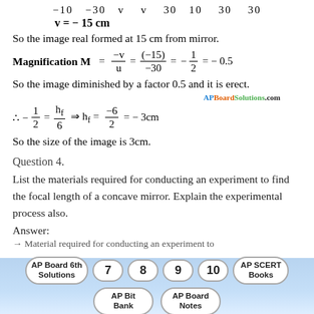So the image real formed at 15 cm from mirror.
So the image diminished by a factor 0.5 and it is erect.
So the size of the image is 3cm.
Question 4.
List the materials required for conducting an experiment to find the focal length of a concave mirror. Explain the experimental process also.
Answer:
→ Material required for conducting an experiment to
AP Board 6th Solutions | 7 | 8 | 9 | 10 | AP SCERT Books | AP Bit Bank | AP Board Notes